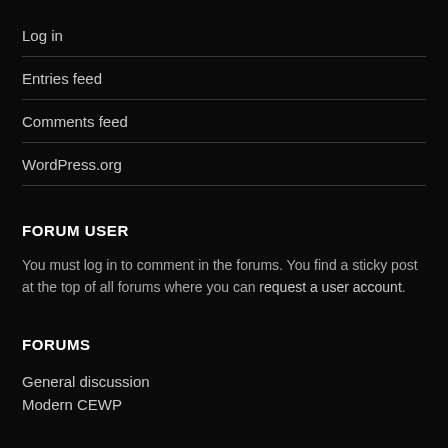Log in
Entries feed
Comments feed
WordPress.org
FORUM USER
You must log in to comment in the forums. You find a sticky post at the top of all forums where you can request a user account.
FORUMS
General discussion
Modern CEWP